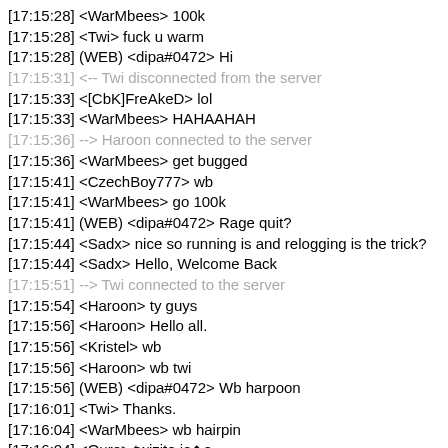[17:15:28] <WarMbees> 100k
[17:15:28] <Twi> fuck u warm
[17:15:28] (WEB) <dipa#0472> Hi
[17:15:31] <-- Twi disconnected from the server
[17:15:33] <[CbK]FreAkeD> lol
[17:15:33] <WarMbees> HAHAAHAH
[17:15:36] --> Haroon connected to the server
[17:15:36] <WarMbees> get bugged
[17:15:41] <CzechBoy777> wb
[17:15:41] <WarMbees> go 100k
[17:15:41] (WEB) <dipa#0472> Rage quit?
[17:15:44] <Sadx> nice so running is and relogging is the trick?
[17:15:44] <Sadx> Hello, Welcome Back
[17:15:51] --> Twi connected to the server
[17:15:54] <Haroon> ty guys
[17:15:56] <Haroon> Hello all.
[17:15:56] <Kristel> wb
[17:15:56] <Haroon> wb twi
[17:15:56] (WEB) <dipa#0472> Wb harpoon
[17:16:01] <Twi> Thanks.
[17:16:04] <WarMbees> wb hairpin
[17:16:04] <Ouro> twizito jo◆o
[17:16:04] <Haroon> dipa bad boy u always :D
[17:16:09] <Haroon> Hello ALL.
[17:16:09] (WEB) <Winny#0266> hi kristel